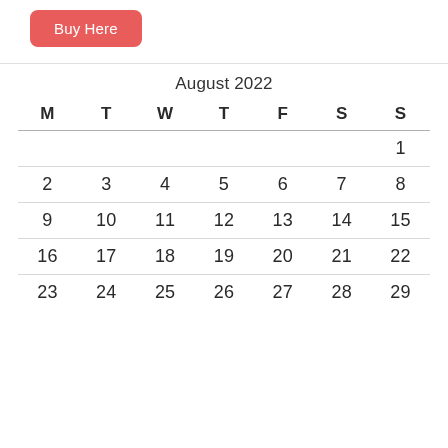Buy Here
| M | T | W | T | F | S | S |
| --- | --- | --- | --- | --- | --- | --- |
|  |  |  |  |  |  | 1 |
| 2 | 3 | 4 | 5 | 6 | 7 | 8 |
| 9 | 10 | 11 | 12 | 13 | 14 | 15 |
| 16 | 17 | 18 | 19 | 20 | 21 | 22 |
| 23 | 24 | 25 | 26 | 27 | 28 | 29 |